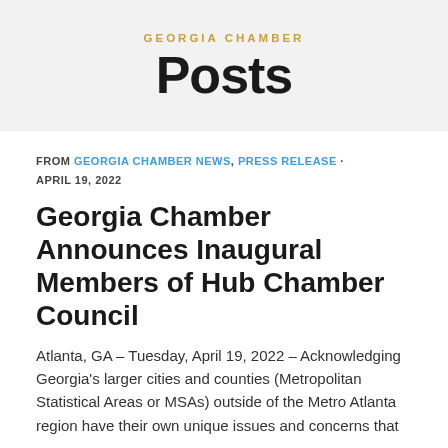GEORGIA CHAMBER
Posts
FROM GEORGIA CHAMBER NEWS, PRESS RELEASE · APRIL 19, 2022
Georgia Chamber Announces Inaugural Members of Hub Chamber Council
Atlanta, GA – Tuesday, April 19, 2022 – Acknowledging Georgia's larger cities and counties (Metropolitan Statistical Areas or MSAs) outside of the Metro Atlanta region have their own unique issues and concerns that